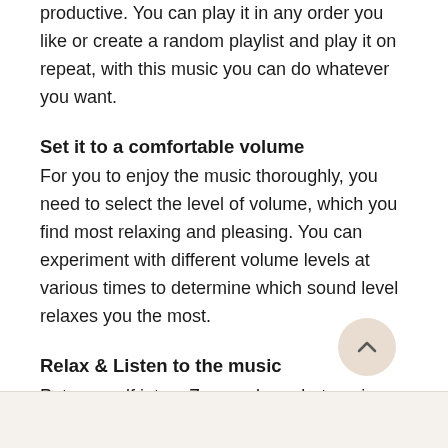productive. You can play it in any order you like or create a random playlist and play it on repeat, with this music you can do whatever you want.
Set it to a comfortable volume
For you to enjoy the music thoroughly, you need to select the level of volume, which you find most relaxing and pleasing. You can experiment with different volume levels at various times to determine which sound level relaxes you the most.
Relax & Listen to the music
Put yourself into a Zen mode and r... to enjoy the music profoundly, and...